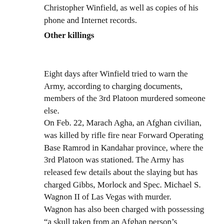Christopher Winfield, as well as copies of his phone and Internet records.
Other killings
Eight days after Winfield tried to warn the Army, according to charging documents, members of the 3rd Platoon murdered someone else.
On Feb. 22, Marach Agha, an Afghan civilian, was killed by rifle fire near Forward Operating Base Ramrod in Kandahar province, where the 3rd Platoon was stationed. The Army has released few details about the slaying but has charged Gibbs, Morlock and Spec. Michael S. Wagnon II of Las Vegas with murder.
Wagnon has also been charged with possessing “a skull taken from an Afghan person’s corpse.” He allegedly took the head sometime during January or February 2010, but court documents do not specify whether it belonged to the Afghan he